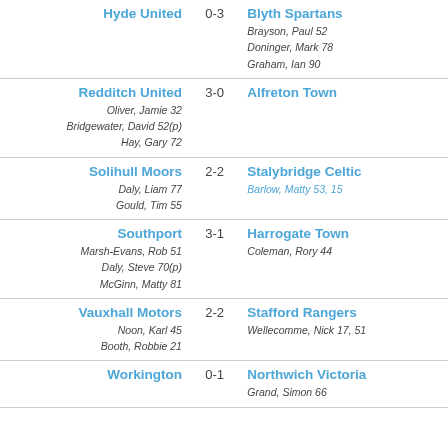| Home | Score | Away |
| --- | --- | --- |
| Hyde United | 0-3 | Blyth Spartans
Brayson, Paul 52
Doninger, Mark 78
Graham, Ian 90 |
| Redditch United
Oliver, Jamie 32
Bridgewater, David 52(p)
Hay, Gary 72 | 3-0 | Alfreton Town |
| Solihull Moors
Daly, Liam 77
Gould, Tim 55 | 2-2 | Stalybridge Celtic
Barlow, Matty 53, 15 |
| Southport
Marsh-Evans, Rob 51
Daly, Steve 70(p)
McGinn, Matty 81 | 3-1 | Harrogate Town
Coleman, Rory 44 |
| Vauxhall Motors
Noon, Karl 45
Booth, Robbie 21 | 2-2 | Stafford Rangers
Wellecomme, Nick 17, 51 |
| Workington | 0-1 | Northwich Victoria
Grand, Simon 66 |